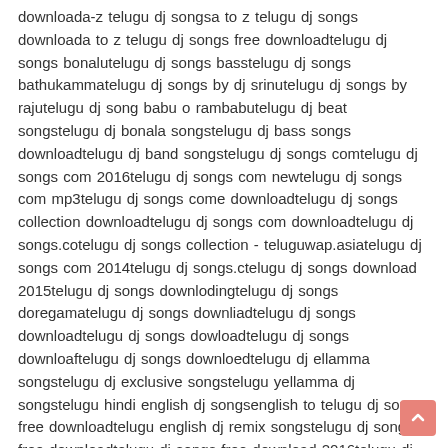downloada-z telugu dj songsa to z telugu dj songs downloada to z telugu dj songs free downloadtelugu dj songs bonalutelugu dj songs basstelugu dj songs bathukammatelugu dj songs by dj srinutelugu dj songs by rajutelugu dj song babu o rambabutelugu dj beat songstelugu dj bonala songstelugu dj bass songs downloadtelugu dj band songstelugu dj songs comtelugu dj songs com 2016telugu dj songs com newtelugu dj songs com mp3telugu dj songs come downloadtelugu dj songs collection downloadtelugu dj songs com downloadtelugu dj songs.cotelugu dj songs collection - teluguwap.asiatelugu dj songs com 2014telugu dj songs.ctelugu dj songs download 2015telugu dj songs downlodingtelugu dj songs doregamatelugu dj songs downliadtelugu dj songs downloadtelugu dj songs dowloadtelugu dj songs downloaftelugu dj songs downloedtelugu dj ellamma songstelugu dj exclusive songstelugu yellamma dj songstelugu hindi english dj songsenglish to telugu dj songs free downloadtelugu english dj remix songstelugu dj songs free downloadtelugu dj songs free download 2016telugu dj songs folk 2016telugu dj songs free download mp3 2016telugu dj songs free downlodingtelugu dj